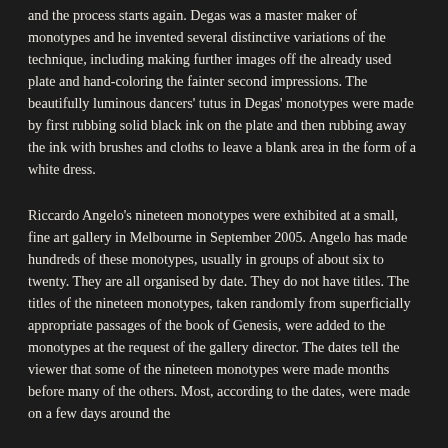and the process starts again. Degas was a master maker of monotypes and he invented several distinctive variations of the technique, including making further images off the already used plate and hand-coloring the fainter second impressions. The beautifully luminous dancers' tutus in Degas' monotypes were made by first rubbing solid black ink on the plate and then rubbing away the ink with brushes and cloths to leave a blank area in the form of a white dress.
Riccardo Angelo's nineteen monotypes were exhibited at a small, fine art gallery in Melbourne in September 2005. Angelo has made hundreds of these monotypes, usually in groups of about six to twenty. They are all organised by date. They do not have titles. The titles of the nineteen monotypes, taken randomly from superficially appropriate passages of the book of Genesis, were added to the monotypes at the request of the gallery director. The dates tell the viewer that some of the nineteen monotypes were made months before many of the others. Most, according to the dates, were made on a few days around the